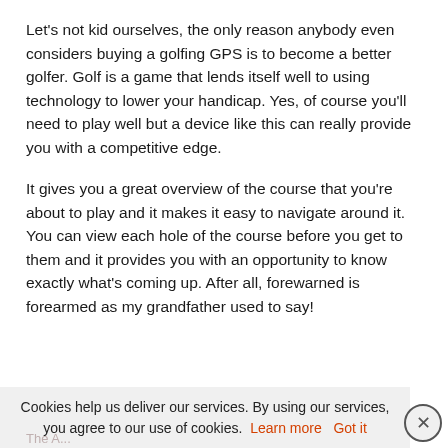Let's not kid ourselves, the only reason anybody even considers buying a golfing GPS is to become a better golfer. Golf is a game that lends itself well to using technology to lower your handicap. Yes, of course you'll need to play well but a device like this can really provide you with a competitive edge.
It gives you a great overview of the course that you're about to play and it makes it easy to navigate around it. You can view each hole of the course before you get to them and it provides you with an opportunity to know exactly what's coming up. After all, forewarned is forearmed as my grandfather used to say!
Cookies help us deliver our services. By using our services, you agree to our use of cookies. Learn more  Got it